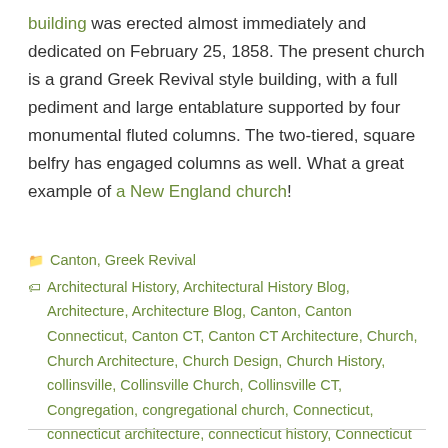building was erected almost immediately and dedicated on February 25, 1858. The present church is a grand Greek Revival style building, with a full pediment and large entablature supported by four monumental fluted columns. The two-tiered, square belfry has engaged columns as well. What a great example of a New England church!
Canton, Greek Revival
Architectural History, Architectural History Blog, Architecture, Architecture Blog, Canton, Canton Connecticut, Canton CT, Canton CT Architecture, Church, Church Architecture, Church Design, Church History, collinsville, Collinsville Church, Collinsville CT, Congregation, congregational church, Connecticut, connecticut architecture, connecticut history, Connecticut Landmarks, Greek Revival, Greek revival architecture, Historic Preservation, New England, New England Architecture Blog, New England History Blog